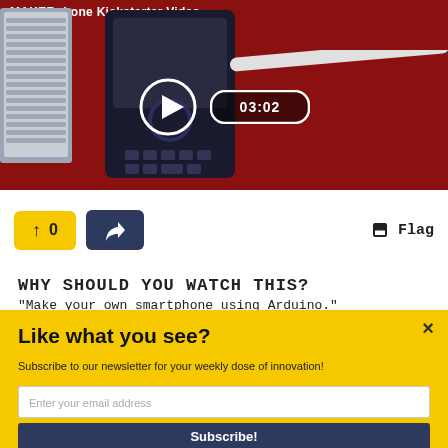[Figure (screenshot): Video thumbnail showing MAKERphone Kickstarter video with a phone device on red background, laptop on left, USB cable. Play button and 03:02 duration badge visible.]
↑  0
[Figure (illustration): Share button (dark blue with share arrow icon)]
🏴 Flag
WHY SHOULD YOU WATCH THIS?
“Make your own smartphone using Arduino.”
Like what you see?
Subscribe to our newsletter for your weekly dose of innovation!
Enter your email address
Subscribe!